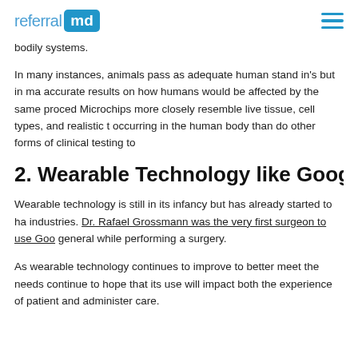referral md
bodily systems.
In many instances, animals pass as adequate human stand in's but in many cases do not provide accurate results on how humans would be affected by the same procedures and treatments. Microchips more closely resemble live tissue, cell types, and realistic the processes occurring in the human body than do other forms of clinical testing to
2. Wearable Technology like Google Gla
Wearable technology is still in its infancy but has already started to have an impact on many industries. Dr. Rafael Grossmann was the very first surgeon to use Goo general while performing a surgery.
As wearable technology continues to improve to better meet the needs continue to hope that its use will impact both the experience of patient and administer care.